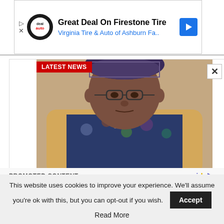[Figure (screenshot): Advertisement banner for Firestone Tire deal at Virginia Tire & Auto of Ashburn Fa.. with blue arrow icon and DealAuto logo]
[Figure (photo): Photo of a man wearing glasses and a patterned cap and traditional African attire, seated, with 'LATEST NEWS' badge overlay]
Court remand nurse who treated Late Senator Adeleke in prison
PROMOTED CONTENT
This website uses cookies to improve your experience. We'll assume you're ok with this, but you can opt-out if you wish.
Read More